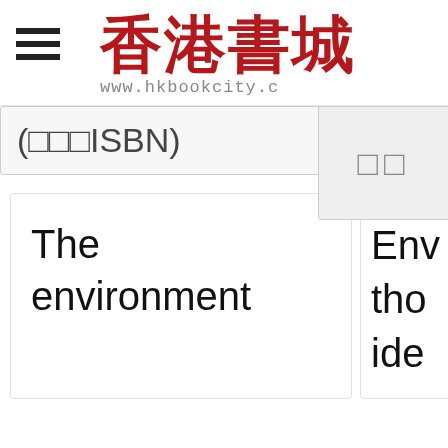香港書城 www.hkbookcity.c
(□□□ISBN)
□□
The environment
Env
tho
ide